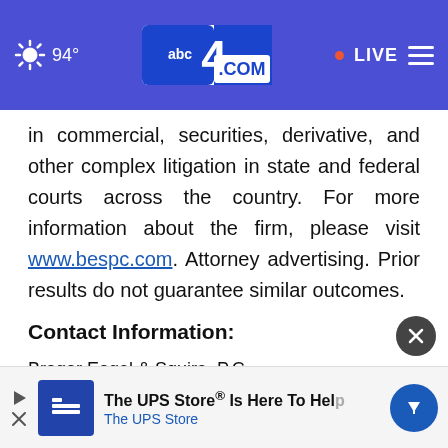[Figure (screenshot): ABC4.com navigation bar with weather showing 94°, ABC4 logo, LIVE indicator, and hamburger menu on a blue/purple background]
in commercial, securities, derivative, and other complex litigation in state and federal courts across the country. For more information about the firm, please visit www.bespc.com. Attorney advertising. Prior results do not guarantee similar outcomes.
Contact Information:
Bragar Eagel & Squire, P.C.
Brandon Walker, Esq.
Melissa Fortunato, Esq.
[Figure (screenshot): The UPS Store advertisement banner at bottom of page showing 'The UPS Store® Is Here To Help' with UPS Store logo and blue navigation arrow icon]